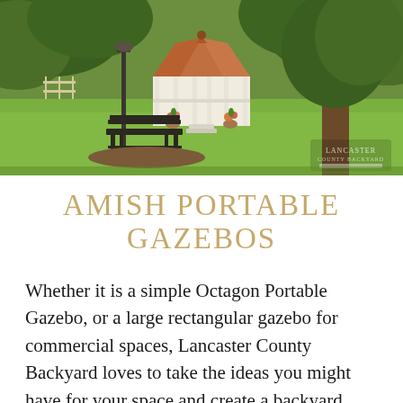[Figure (photo): Outdoor photograph of a white wooden octagonal gazebo with a copper/terracotta roof in a lush green park setting. A black metal bench sits in the foreground on mulched ground. Large trees flank the scene. Potted flowers decorate the gazebo steps. A watermark/logo is visible in the lower right corner of the image.]
AMISH PORTABLE GAZEBOS
Whether it is a simple Octagon Portable Gazebo, or a large rectangular gazebo for commercial spaces, Lancaster County Backyard loves to take the ideas you might have for your space and create a backyard